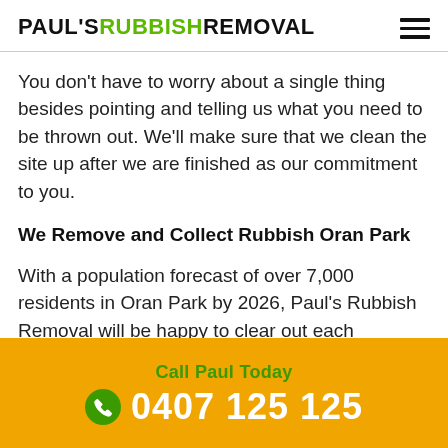PAUL'S RUBBISH REMOVAL
You don't have to worry about a single thing besides pointing and telling us what you need to be thrown out. We'll make sure that we clean the site up after we are finished as our commitment to you.
We Remove and Collect Rubbish Oran Park
With a population forecast of over 7,000 residents in Oran Park by 2026, Paul's Rubbish Removal will be happy to clear out each
Call Paul Today
0407 125 125